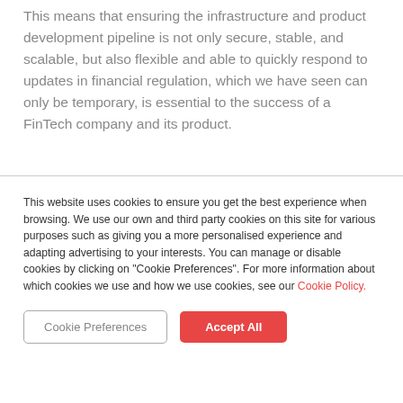This means that ensuring the infrastructure and product development pipeline is not only secure, stable, and scalable, but also flexible and able to quickly respond to updates in financial regulation, which we have seen can only be temporary, is essential to the success of a FinTech company and its product.
This website uses cookies to ensure you get the best experience when browsing. We use our own and third party cookies on this site for various purposes such as giving you a more personalised experience and adapting advertising to your interests. You can manage or disable cookies by clicking on "Cookie Preferences". For more information about which cookies we use and how we use cookies, see our Cookie Policy.